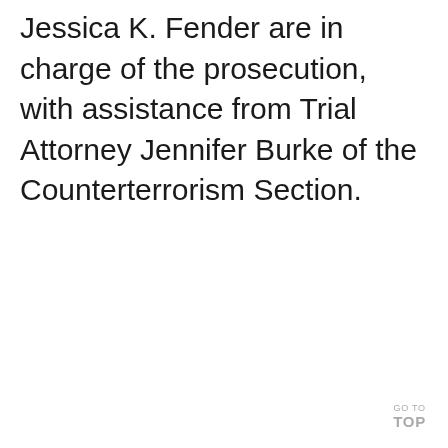Jessica K. Fender are in charge of the prosecution, with assistance from Trial Attorney Jennifer Burke of the Counterterrorism Section.
GO TO TOP